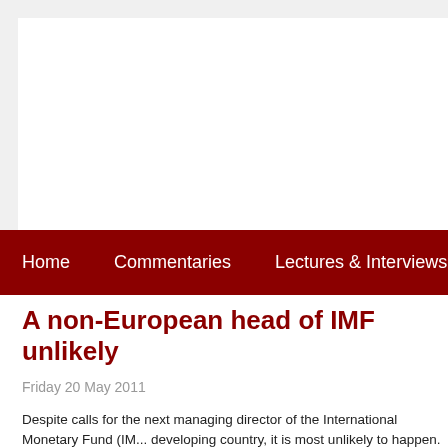Home   Commentaries   Lectures & Interviews   B...
A non-European head of IMF unlikely
Friday 20 May 2011
Despite calls for the next managing director of the International Monetary Fund (IM... developing country, it is most unlikely to happen. At least for the next term, the E...